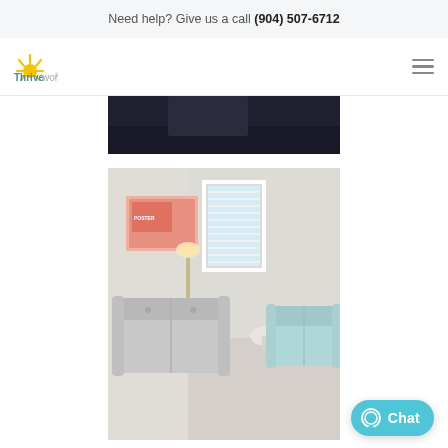Need help? Give us a call (904) 507-6712
[Figure (logo): Thriveworks logo with sun rays icon and blue text]
[Figure (photo): Partial view of a dark room, top of photo strip]
[Figure (photo): Therapy office waiting room with gray sofa, mint armchair, framed poster, floor lamp, and window with white blinds]
Chat